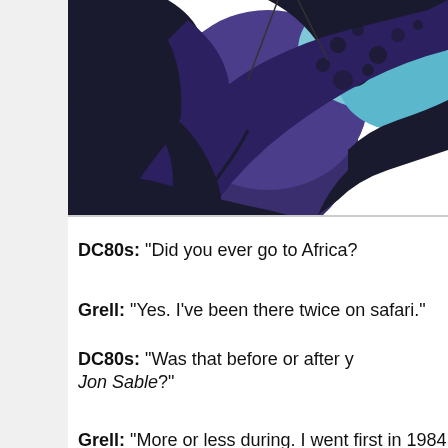[Figure (illustration): Comic book illustration showing a dark, stylized figure with purple and black coloring, appearing to be a superhero or character in action, with blue accents and bold ink lines typical of DC Comics 1980s artwork.]
DC80s: "Did you ever go to Africa?
Grell: "Yes. I've been there twice on safari."
DC80s: "Was that before or after you wrote Jon Sable?"
Grell: "More or less during. I went first in 1984...